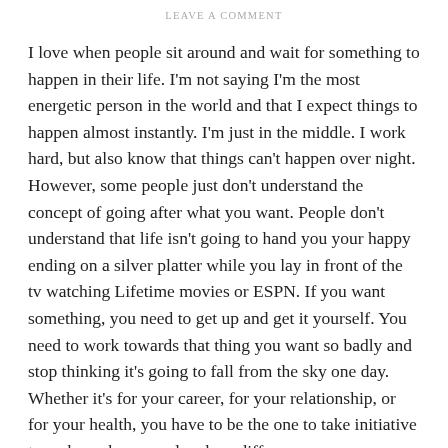LEAVE A COMMENT
I love when people sit around and wait for something to happen in their life. I'm not saying I'm the most energetic person in the world and that I expect things to happen almost instantly. I'm just in the middle. I work hard, but also know that things can't happen over night. However, some people just don't understand the concept of going after what you want. People don't understand that life isn't going to hand you your happy ending on a silver platter while you lay in front of the tv watching Lifetime movies or ESPN. If you want something, you need to get up and get it yourself. You need to work towards that thing you want so badly and stop thinking it's going to fall from the sky one day. Whether it's for your career, for your relationship, or for your health, you have to be the one to take initiative to make a change and make a difference.